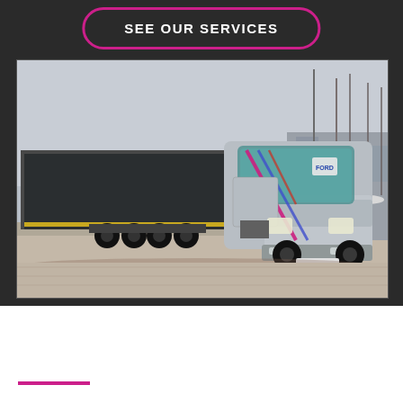SEE OUR SERVICES
[Figure (photo): A silver Ford truck with CARGOBIS branding and diagonal stripe livery in pink, blue and red, parked at a harbor with sailboat masts visible in the background. The truck has a curtainsider trailer.]